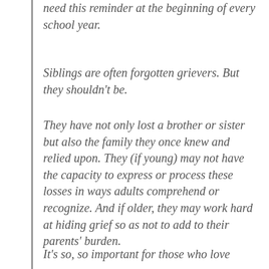need this reminder at the beginning of every school year.
Siblings are often forgotten grievers. But they shouldn’t be.
They have not only lost a brother or sister but also the family they once knew and relied upon. They (if young) may not have the capacity to express or process these losses in ways adults comprehend or recognize. And if older, they may work hard at hiding grief so as not to add to their parents’ burden.
It’s so, so important for those who love